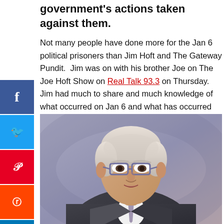government's actions taken against them.
Not many people have done more for the Jan 6 political prisoners than Jim Hoft and The Gateway Pundit.  Jim was on with his brother Joe on The Joe Hoft Show on Real Talk 93.3 on Thursday.  Jim had much to share and much knowledge of what occurred on Jan 6 and what has occurred since.
[Figure (photo): Headshot photo of a middle-aged man with white/grey hair, glasses, wearing a dark suit and tie, against a purple/grey background.]